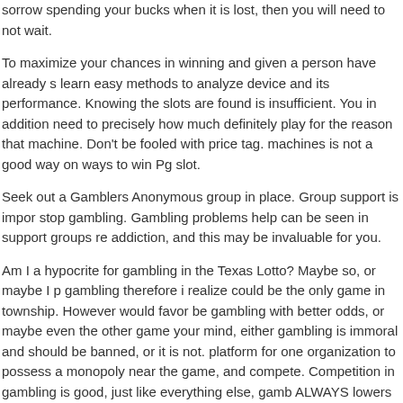sorrow spending your bucks when it is lost, then you will need to not wait.
To maximize your chances in winning and given a person have already s learn easy methods to analyze device and its performance. Knowing the slots are found is insufficient. You in addition need to precisely how much definitely play for the reason that machine. Don't be fooled with price tag. machines is not a good way on ways to win Pg slot.
Seek out a Gamblers Anonymous group in place. Group support is impor stop gambling. Gambling problems help can be seen in support groups re addiction, and this may be invaluable for you.
Am I a hypocrite for gambling in the Texas Lotto? Maybe so, or maybe I p gambling therefore i realize could be the only game in township. However would favor be gambling with better odds, or maybe even the other game your mind, either gambling is immoral and should be banned, or it is not. platform for one organization to possess a monopoly near the game, and compete. Competition in gambling is good, just like everything else, gamb ALWAYS lowers the price, improves the particular and increases the cust my advice.
Filed Under: Uncategorized